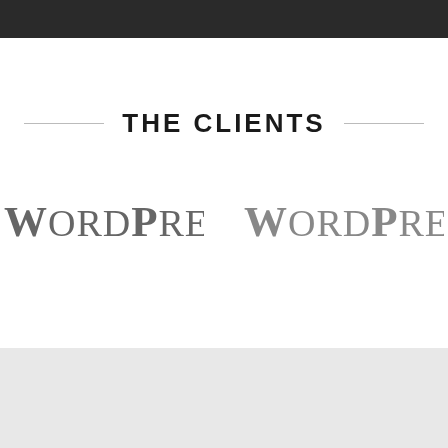THE CLIENTS
[Figure (logo): WordPress logo text mark, left instance]
[Figure (logo): WordPress logo text mark, right instance]